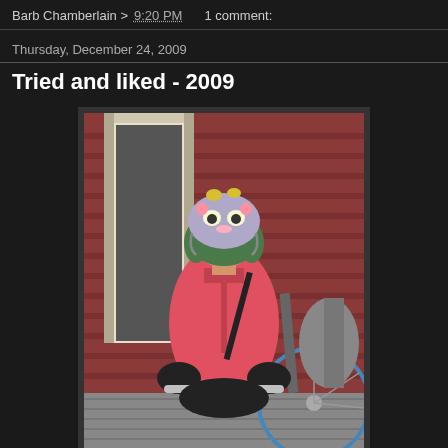Barb Chamberlain > 9:20 PM    1 comment:
Thursday, December 24, 2009
Tried and liked - 2009
[Figure (photo): A young girl wearing a pink/red jacket, a decorated bicycle helmet with a character face on it, and black gloves, posing on a bicycle in front of a red-sided building with a door visible in the background.]